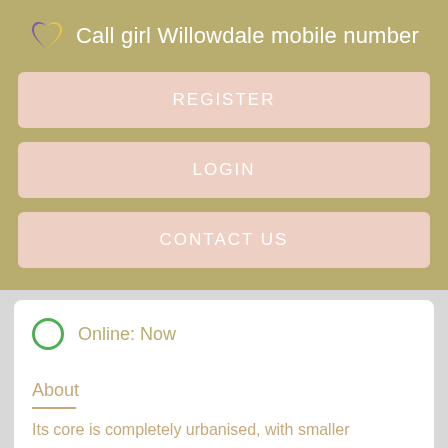Call girl Willowdale mobile number
REGISTER
LOGIN
CONTACT US
Online: Now
About
Its core is completely urbanised, with smaller